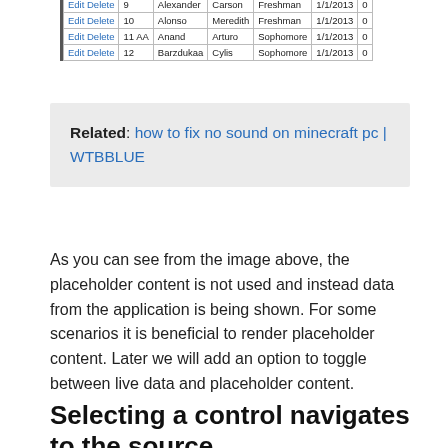|  |  | First | Last | Year | Date |  |
| --- | --- | --- | --- | --- | --- | --- |
| Edit Delete | 9 | Alexander | Carson | Freshman | 1/1/2013 | 0 |
| Edit Delete | 10 | Alonso | Meredith | Freshman | 1/1/2013 | 0 |
| Edit Delete | 11 AA | Anand | Arturo | Sophomore | 1/1/2013 | 0 |
| Edit Delete | 12 | Barzdukaa | Cylis | Sophomore | 1/1/2013 | 0 |
Related: how to fix no sound on minecraft pc | WTBBLUE
As you can see from the image above, the placeholder content is not used and instead data from the application is being shown. For some scenarios it is beneficial to render placeholder content. Later we will add an option to toggle between live data and placeholder content.
Selecting a control navigates to the source